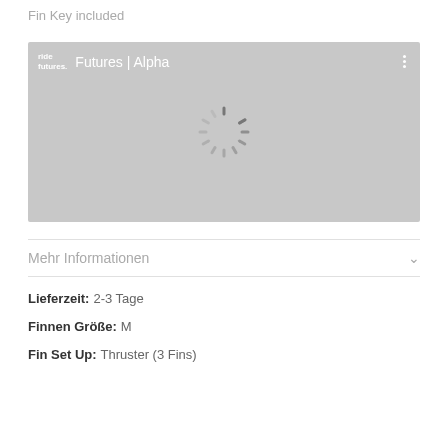Fin Key included
[Figure (screenshot): Video player placeholder showing 'ride futures. Futures | Alpha' title bar with three-dot menu and a loading spinner in the center on a gray background]
Mehr Informationen
Lieferzeit: 2-3 Tage
Finnen Größe: M
Fin Set Up: Thruster (3 Fins)